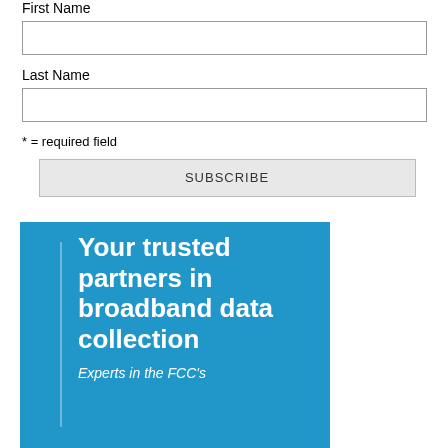First Name
Last Name
* = required field
SUBSCRIBE
[Figure (illustration): Blue promotional box with white vertical line accent and white bold text reading 'Your trusted partners in broadband data collection' with italic subtitle 'Experts in the FCC's']